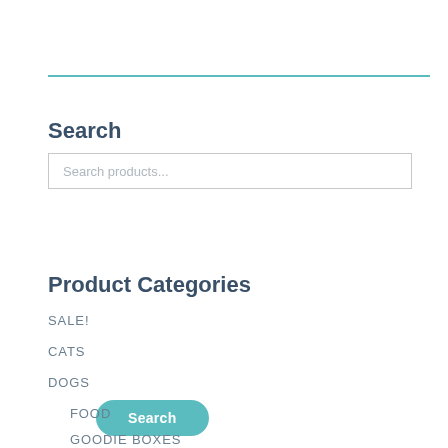Search
Search products...
Search
Product Categories
SALE!
CATS
DOGS
FOOD
GOODIE BOXES